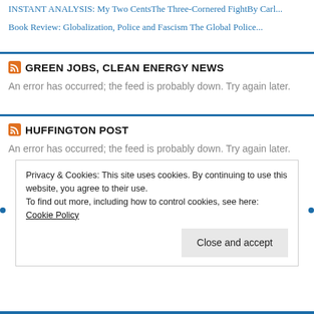INSTANT ANALYSIS: My Two CentsThe Three-Cornered FightBy Carl...
Book Review: Globalization, Police and Fascism The Global Police...
GREEN JOBS, CLEAN ENERGY NEWS
An error has occurred; the feed is probably down. Try again later.
HUFFINGTON POST
An error has occurred; the feed is probably down. Try again later.
Privacy & Cookies: This site uses cookies. By continuing to use this website, you agree to their use.
To find out more, including how to control cookies, see here: Cookie Policy
Close and accept